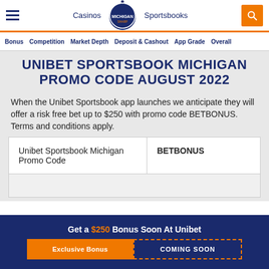Casinos | Michigan Sharp | Sportsbooks
Bonus | Competition | Market Depth | Deposit & Cashout | App Grade | Overall
UNIBET SPORTSBOOK MICHIGAN PROMO CODE AUGUST 2022
When the Unibet Sportsbook app launches we anticipate they will offer a risk free bet up to $250 with promo code BETBONUS. Terms and conditions apply.
| Unibet Sportsbook Michigan Promo Code | BETBONUS |
| --- | --- |
Get a $250 Bonus Soon At Unibet
Exclusive Bonus | COMING SOON